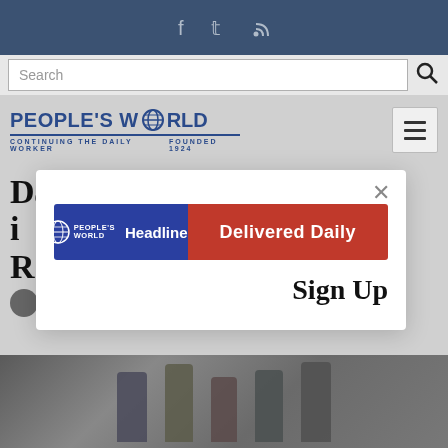People's World - social icons header
Search
[Figure (logo): People's World logo with globe icon, subtitle: CONTINUING THE DAILY WORKER | FOUNDED 1924]
Democrats' $3 trillion stimulus includes R
[Figure (screenshot): Modal popup with People's World Headlines Delivered Daily banner (blue and red) and Sign Up text]
[Figure (photo): Photo showing group of people including politicians in a hallway setting]